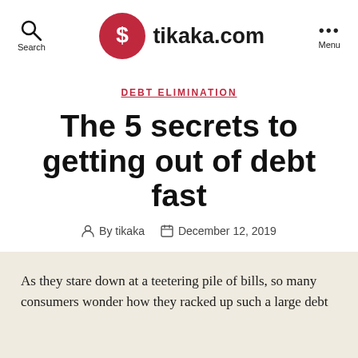tikaka.com
DEBT ELIMINATION
The 5 secrets to getting out of debt fast
By tikaka   December 12, 2019
As they stare down at a teetering pile of bills, so many consumers wonder how they racked up such a large debt